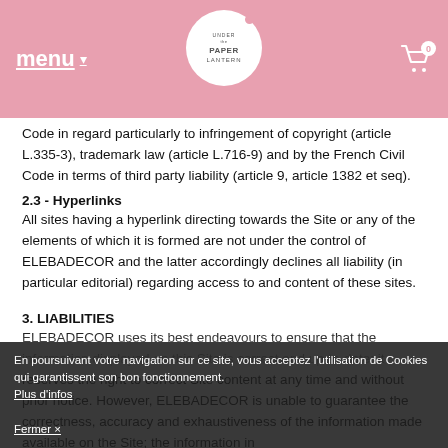menu | UNDER THE PAPER LANTERN | 0
Code in regard particularly to infringement of copyright (article L.335-3), trademark law (article L.716-9) and by the French Civil Code in terms of third party liability (article 9, article 1382 et seq).
2.3 - Hyperlinks
All sites having a hyperlink directing towards the Site or any of the elements of which it is formed are not under the control of ELEBADECOR and the latter accordingly declines all liability (in particular editorial) regarding access to and content of these sites.
3. LIABILITIES
ELEBADECOR uses its best endeavours to ensure that the information displayed on this Site is correct and up-to-date; it reserves the right to correct Site content at any time and without prior notice. However, ELEBADECOR is unable to guarantee the correctness, accuracy and exhaustiveness of the information made available on the Site; the information in question does not amount to a warranty undertaking; in particular ELEBADECOR shall not and cannot be held liable for:
En poursuivant votre navigation sur ce site, vous acceptez l'utilisation de Cookies qui garantissent son bon fonctionnement. Plus d'infos Fermer ×